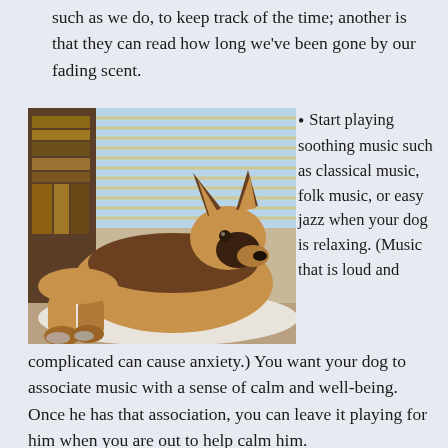such as we do, to keep track of the time; another is that they can read how long we've been gone by our fading scent.
[Figure (photo): A large German Shepherd / Belgian Malinois dog lying relaxed on a white fluffy rug on a wooden floor, with a bookshelf in the background and a window with blinds behind.]
Start playing soothing music such as classical music, folk music, or easy jazz when your dog is relaxing. (Music that is loud and complicated can cause anxiety.) You want your dog to associate music with a sense of calm and well-being. Once he has that association, you can leave it playing for him when you are out to help calm him.